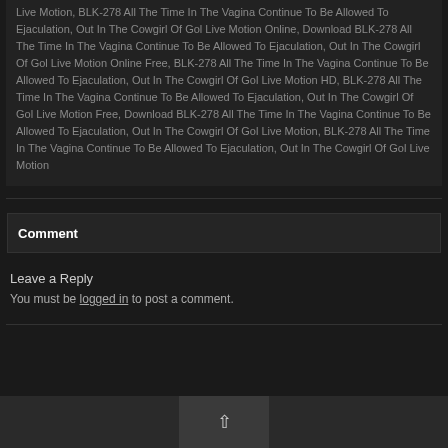Live Motion, BLK-278 All The Time In The Vagina Continue To Be Allowed To Ejaculation, Out In The Cowgirl Of Gol Live Motion Online, Download BLK-278 All The Time In The Vagina Continue To Be Allowed To Ejaculation, Out In The Cowgirl Of Gol Live Motion Online Free, BLK-278 All The Time In The Vagina Continue To Be Allowed To Ejaculation, Out In The Cowgirl Of Gol Live Motion HD, BLK-278 All The Time In The Vagina Continue To Be Allowed To Ejaculation, Out In The Cowgirl Of Gol Live Motion Free, Download BLK-278 All The Time In The Vagina Continue To Be Allowed To Ejaculation, Out In The Cowgirl Of Gol Live Motion, BLK-278 All The Time In The Vagina Continue To Be Allowed To Ejaculation, Out In The Cowgirl Of Gol Live Motion
Comment
Leave a Reply
You must be logged in to post a comment.